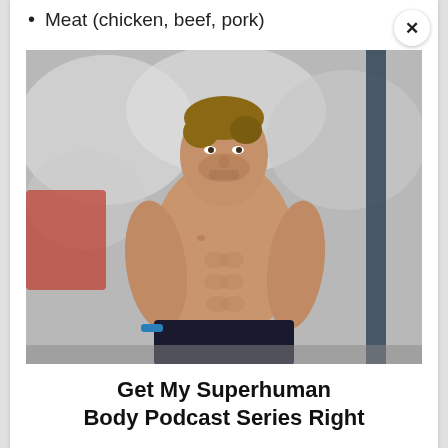Meat (chicken, beef, pork)
[Figure (photo): A shirtless athletic man with visible abdominal muscles standing in what appears to be a gym, with a blurred snowy or abstract background. He is wearing dark shorts and a blue wristband.]
Get My Superhuman Body Podcast Series Right